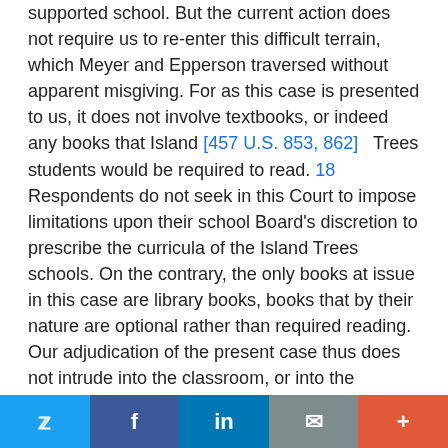supported school. But the current action does not require us to re-enter this difficult terrain, which Meyer and Epperson traversed without apparent misgiving. For as this case is presented to us, it does not involve textbooks, or indeed any books that Island [457 U.S. 853, 862]   Trees students would be required to read. 18 Respondents do not seek in this Court to impose limitations upon their school Board's discretion to prescribe the curricula of the Island Trees schools. On the contrary, the only books at issue in this case are library books, books that by their nature are optional rather than required reading. Our adjudication of the present case thus does not intrude into the classroom, or into the compulsory courses taught there. Furthermore, even as to library books, the action before us does not involve the acquisition of books. Respondents have not sought to compel their school Board to add to the school library shelves any books that students desire to read. Rather, the only action challenged in
Twitter Facebook in Email +